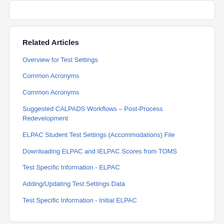Related Articles
Overview for Test Settings
Common Acronyms
Common Acronyms
Suggested CALPADS Workflows – Post-Process Redevelopment
ELPAC Student Test Settings (Accommodations) File
Downloading ELPAC and IELPAC Scores from TOMS
Test Specific Information - ELPAC
Adding/Updating Test Settings Data
Test Specific Information - Initial ELPAC